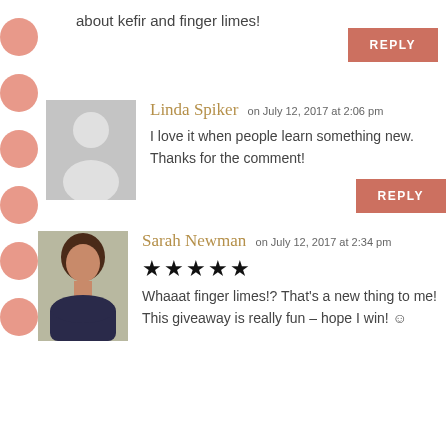about kefir and finger limes!
REPLY
Linda Spiker on July 12, 2017 at 2:06 pm
I love it when people learn something new. Thanks for the comment!
REPLY
Sarah Newman on July 12, 2017 at 2:34 pm
★★★★★
Whaaat finger limes!? That's a new thing to me! This giveaway is really fun – hope I win! ☺